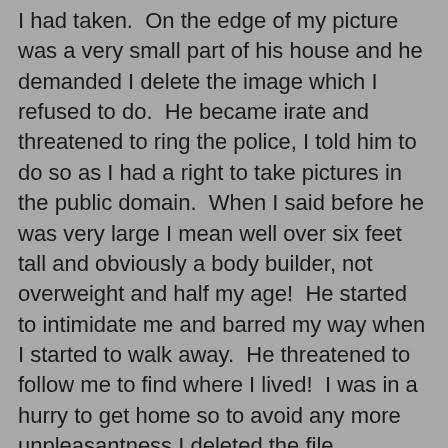I had taken.  On the edge of my picture was a very small part of his house and he demanded I delete the image which I refused to do.  He became irate and threatened to ring the police, I told him to do so as I had a right to take pictures in the public domain.  When I said before he was very large I mean well over six feet tall and obviously a body builder, not overweight and half my age!  He started to intimidate me and barred my way when I started to walk away.  He threatened to follow me to find where I lived!  I was in a hurry to get home so to avoid any more unpleasantness I deleted the file.
Later that night I related the incident to the police who confirmed that I was not obliged to delete the image and that photographers can take pictures, without permission, of anything that is in view be that buildings or people, providing they (the photographer) are stood in the public domain and not invading anyone's privacy. The police asked me if I wanted them to take any further action but I didn't want to start something that might have recriminations in the future.
It's a very fraught subject and this is the first incident I've